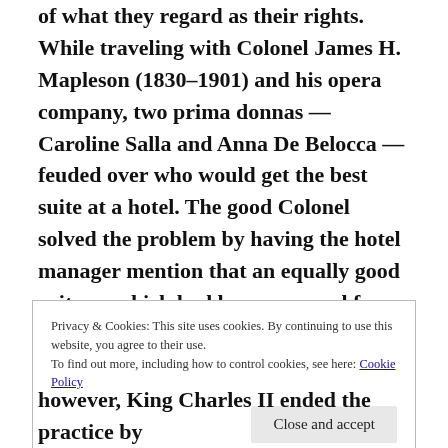of what they regard as their rights. While traveling with Colonel James H. Mapleson (1830–1901) and his opera company, two prima donnas — Caroline Salla and Anna De Belocca — feuded over who would get the best suite at a hotel. The good Colonel solved the problem by having the hotel manager mention that an equally good suite — which had been reserved for Lady Spencer — existed upstairs. Ms. Belocca asked to see the reserved suite, and when the door was open, she ran inside and
Privacy & Cookies: This site uses cookies. By continuing to use this website, you agree to their use.
To find out more, including how to control cookies, see here: Cookie Policy
however, King Charles II ended the practice by